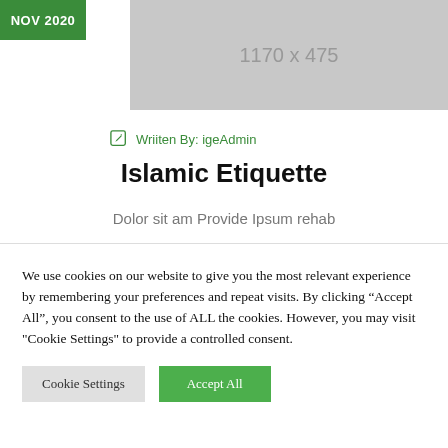NOV 2020
[Figure (photo): Placeholder image 1170 x 475]
Wriiten By: igeAdmin
Islamic Etiquette
Dolor sit am Provide Ipsum rehab
We use cookies on our website to give you the most relevant experience by remembering your preferences and repeat visits. By clicking “Accept All”, you consent to the use of ALL the cookies. However, you may visit "Cookie Settings" to provide a controlled consent.
Cookie Settings | Accept All